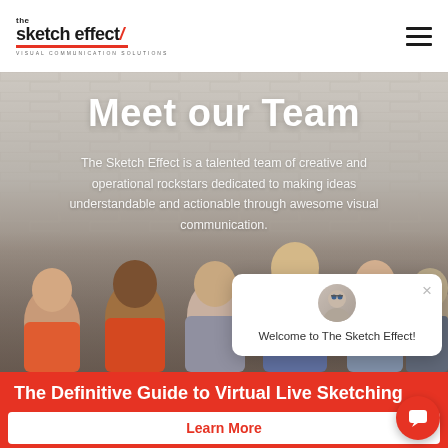[Figure (logo): The Sketch Effect logo with red underline and 'VISUAL COMMUNICATION SOLUTIONS' tagline]
[Figure (photo): Hero section with brick wall background and team photo. Shows group of smiling people in front of white brick wall.]
Meet our Team
The Sketch Effect is a talented team of creative and operational rockstars dedicated to making ideas understandable and actionable through awesome visual communication.
[Figure (screenshot): Chat widget popup with avatar photo and 'Welcome to The Sketch Effect!' message and X close button]
Welcome to The Sketch Effect!
The Definitive Guide to Virtual Live Sketching
Learn More